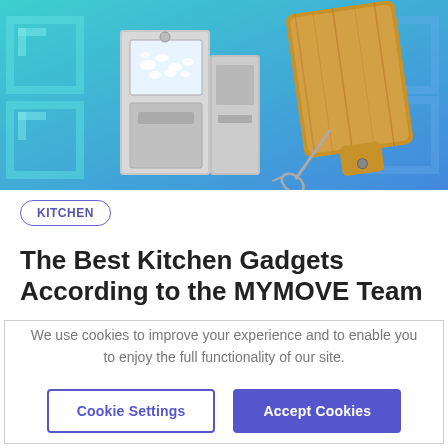[Figure (photo): Kitchen gadgets hero image: a stainless steel ice maker machine on the left and a wooden cutting board with a pizza cutter on the right, set against a teal/blue geometric patterned background.]
KITCHEN
The Best Kitchen Gadgets According to the MYMOVE Team
We use cookies to improve your experience and to enable you to enjoy the full functionality of our site.
Cookie Settings
Accept Cookies